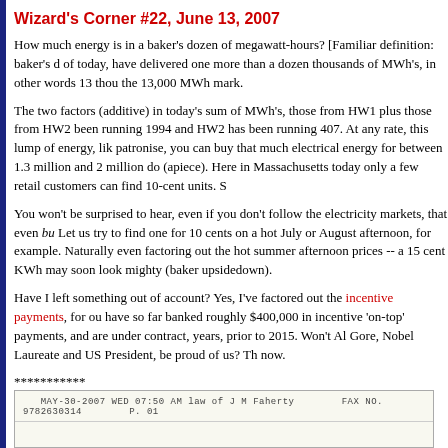Wizard's Corner #22,  June 13, 2007
How much energy is in a baker's dozen of megawatt-hours?  [Familiar definition:  baker's d of today, have delivered one more than a dozen thousands of MWh's, in other words 13 thou the 13,000 MWh mark.
The two factors (additive) in today's sum of MWh's, those from HW1 plus those from HW2 been running  1994  and  HW2 has been running  407.   At any rate, this lump of energy, lik patronise, you can buy that much electrical energy for between 1.3 million and 2 million do (apiece).   Here in Massachusetts today only a few retail customers can find 10-cent units.  S
You won't be surprised to hear, even if you don't follow the electricity markets, that even bu Let us try to find one for 10 cents on a hot July or August afternoon, for example.  Naturally even factoring out the hot summer afternoon prices -- a 15 cent KWh may soon look mighty (baker upsidedown).
Have I left something out of account?   Yes, I've factored out the incentive payments, for ou have so far banked roughly $400,000 in incentive 'on-top' payments, and are under contract, years, prior to 2015.   Won't Al Gore, Nobel Laureate and US President, be proud of us?  Th now.
***********
News note:   Gloucester has passed a 'land-based' ordinance, favorable to windpower.   Noti
[Figure (other): Fax header image showing: MAY-30-2007 WED 07:50 AM law of J M Faherty  FAX NO. 9782630314  P. 01]